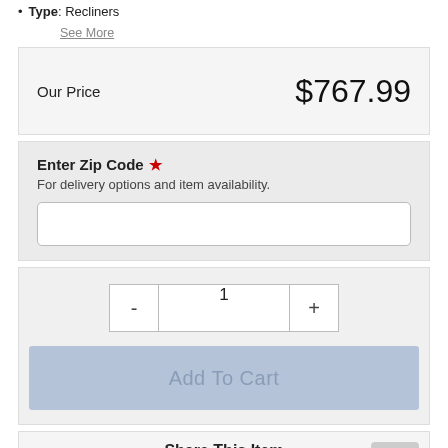Type: Recliners
See More
| Our Price | $767.99 |
| --- | --- |
Enter Zip Code *
For delivery options and item availability.
[Zip Code Input]
- 1 +
Add To Cart
Share This Item
[Figure (infographic): Social share icons: email, Twitter, Facebook, Pinterest, More]